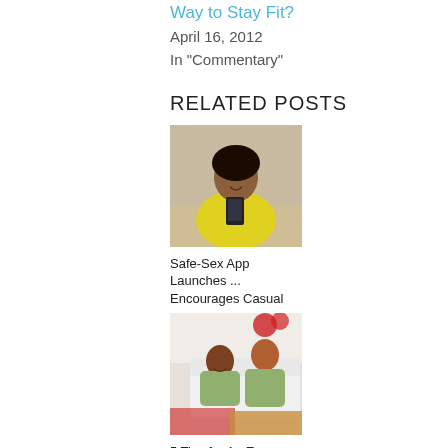Way to Stay Fit?
April 16, 2012
In "Commentary"
RELATED POSTS
[Figure (photo): Woman in yellow top looking at phone]
Safe-Sex App Launches ... Encourages Casual
[Figure (photo): Two women relaxing on couch with Christmas gifts]
5 Tips for An Eco-Friendly Post-Christmas &
[Figure (photo): Woman with curly hair cleaning with blue gloves]